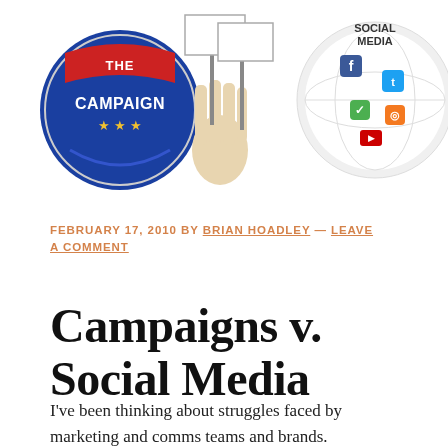[Figure (illustration): Three illustrations side by side: a red/blue political campaign badge with 'THE CAMPAIGN' text and stars, a hand holding protest signs, and a colorful social media globe with icons]
FEBRUARY 17, 2010 BY BRIAN HOADLEY — LEAVE A COMMENT
Campaigns v. Social Media
I've been thinking about struggles faced by marketing and comms teams and brands.